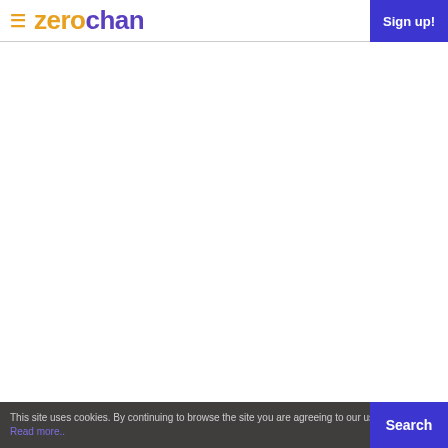zerochan — Sign up!
This site uses cookies. By continuing to browse the site you are agreeing to our use of cookies. Read more..
Search